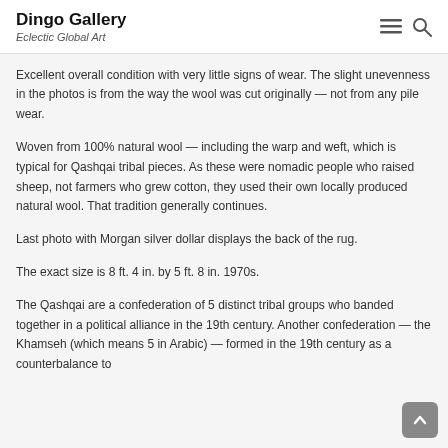Dingo Gallery — Eclectic Global Art
Excellent overall condition with very little signs of wear. The slight unevenness in the photos is from the way the wool was cut originally — not from any pile wear.
Woven from 100% natural wool — including the warp and weft, which is typical for Qashqai tribal pieces. As these were nomadic people who raised sheep, not farmers who grew cotton, they used their own locally produced natural wool. That tradition generally continues.
Last photo with Morgan silver dollar displays the back of the rug.
The exact size is 8 ft. 4 in. by 5 ft. 8 in. 1970s.
The Qashqai are a confederation of 5 distinct tribal groups who banded together in a political alliance in the 19th century. Another confederation — the Khamseh (which means 5 in Arabic) — formed in the 19th century as a counterbalance to